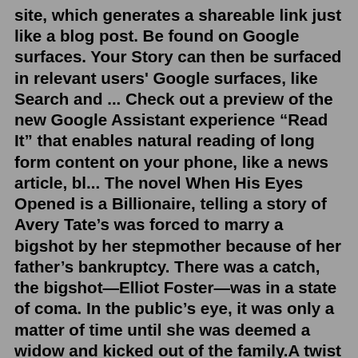site, which generates a shareable link just like a blog post. Be found on Google surfaces. Your Story can then be surfaced in relevant users' Google surfaces, like Search and ... Check out a preview of the new Google Assistant experience “Read It” that enables natural reading of long form content on your phone, like a news article, bl... The novel When His Eyes Opened is a Billionaire, telling a story of Avery Tate’s was forced to marry a bigshot by her stepmother because of her father’s bankruptcy. There was a catch, the bigshot—Elliot Foster—was in a state of coma. In the public’s eye, it was only a matter of time until she was deemed a widow and kicked out of the family.A twist of event happene Use this demo as a creativity tool to explore ideas and discover books by getting quotes that respond to your queries. Use natural language Speaking to it in sentences will often get better results...Sep 24, 2020 · 2. Scroll down until you find Google and tap on it. 3. Select “Account Services -> Search, Assistant & Voice -> Voice.”. 4. Find and tap on the “Voice Match” feature under the